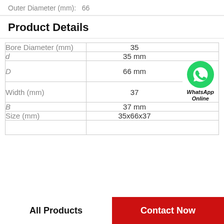Outer Diameter (mm):   66
Product Details
|  |  |
| --- | --- |
| Bore Diameter (mm) | 35 |
| d | 35 mm |
| D | 66 mm |
| Width (mm) | 37 |
| B | 37 mm |
| Size (mm) | 35x66x37 |
|  |  |
[Figure (logo): WhatsApp Online green phone icon with text WhatsApp Online]
All Products
Contact Now